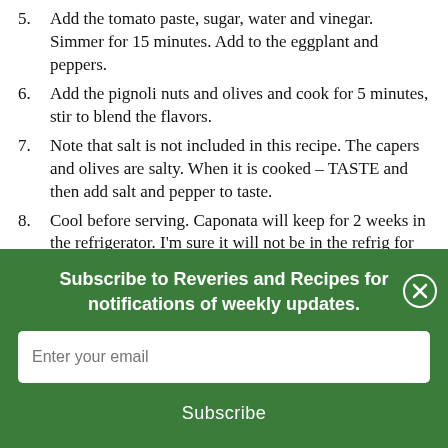5. Add the tomato paste, sugar, water and vinegar. Simmer for 15 minutes. Add to the eggplant and peppers.
6. Add the pignoli nuts and olives and cook for 5 minutes, stir to blend the flavors.
7. Note that salt is not included in this recipe. The capers and olives are salty. When it is cooked – TASTE and then add salt and pepper to taste.
8. Cool before serving. Caponata will keep for 2 weeks in the refrigerator. I'm sure it will not be in the refrig for that long. It is so delicious it will not be left over.
[Figure (infographic): Email and share buttons (grey envelope icon and green share icon)]
Subscribe to Reveries and Recipes for notifications of weekly updates.
Enter your email
Subscribe